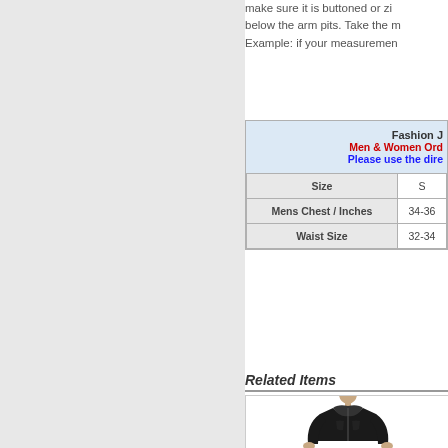make sure it is buttoned or zipped below the arm pits. Take the m... Example: if your measuremen...
| Size | S |
| --- | --- |
| Mens Chest / Inches | 34-36 |
| Waist Size | 32-34 |
Related Items
[Figure (photo): Man wearing a black leather jacket]